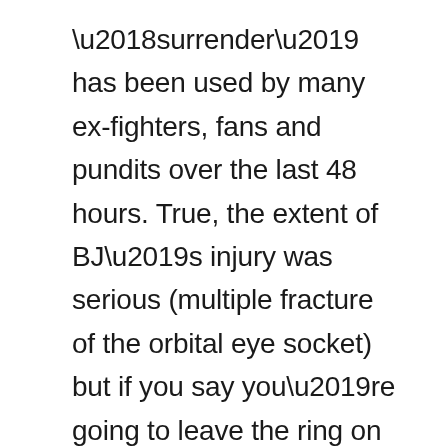'surrender' has been used by many ex-fighters, fans and pundits over the last 48 hours. True, the extent of BJ's injury was serious (multiple fracture of the orbital eye socket) but if you say you're going to leave the ring on your shield, you'd better back it up. On Saturday, this in the eyes of many wasn't the case. Just compare the performance with that of the 37 year old Japanese light-flyweight Takayama in the co-main event and you will see what I